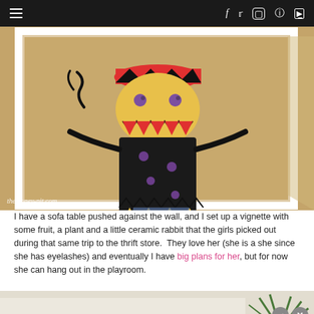≡  f  𝕏  ⬜  ⊕  ▶
[Figure (photo): Child's crayon drawing of a monster-like character with a red hat, yellow face, red triangular teeth, black body with purple dots, on brown paper, displayed in a white frame. Watermark reads: themoney-pit.com]
I have a sofa table pushed against the wall, and I set up a vignette with some fruit, a plant and a little ceramic rabbit that the girls picked out during that same trip to the thrift store.  They love her (she is a she since she has eyelashes) and eventually I have big plans for her, but for now she can hang out in the playroom.
[Figure (photo): Partial bottom photograph showing a light-colored surface with a green plant on the right side, partially visible.]